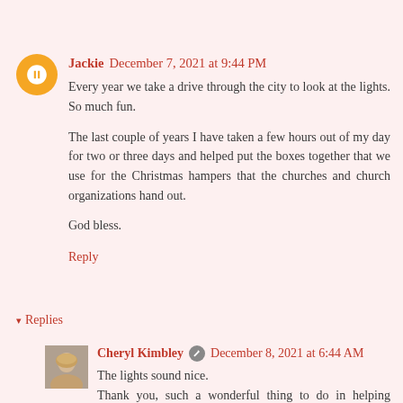Jackie  December 7, 2021 at 9:44 PM
Every year we take a drive through the city to look at the lights. So much fun.

The last couple of years I have taken a few hours out of my day for two or three days and helped put the boxes together that we use for the Christmas hampers that the churches and church organizations hand out.

God bless.
Reply
▾  Replies
[Figure (photo): Small square photo of Cheryl Kimbley, a woman with short blonde hair]
Cheryl Kimbley  ✎  December 8, 2021 at 6:44 AM
The lights sound nice.
Thank you, such a wonderful thing to do in helping others. If everyone did a little something it would be such a big help.